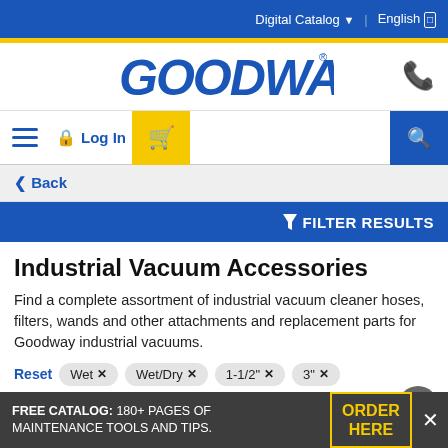Digital Catalog  English
[Figure (logo): Goodway logo in blue italic bold font with registered trademark symbol]
hamburger menu  Log In  cart  search
< Back
FILTER RESULTS
Industrial Vacuum Accessories
Find a complete assortment of industrial vacuum cleaner hoses, filters, wands and other attachments and replacement parts for Goodway industrial vacuums.
Reset  Wet x  Wet/Dry x  1-1/2" x  3" x
DV-3-CCH x  DV-775 x
FREE CATALOG: 180+ PAGES OF MAINTENANCE TOOLS AND TIPS.  ORDER HERE  x